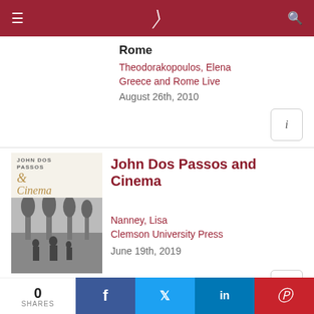Navigation bar with menu, logo, and search
Rome
Theodorakopoulos, Elena
Greece and Rome Live
August 26th, 2010
[Figure (screenshot): Info button (i) in rounded rectangle]
John Dos Passos and Cinema
[Figure (photo): Book cover for John Dos Passos & Cinema showing title text above a black and white photograph of people outdoors]
Nanney, Lisa
Clemson University Press
June 19th, 2019
0 SHARES  Facebook  Twitter  LinkedIn  Pinterest